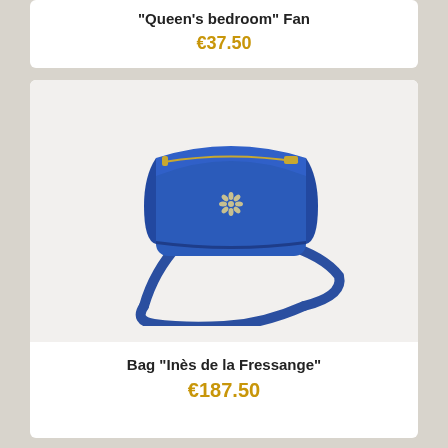"Queen's bedroom" Fan
€37.50
[Figure (photo): Blue crossbody bag 'Inès de la Fressange' with long strap and small gold floral emblem on front]
Bag "Inès de la Fressange"
€187.50